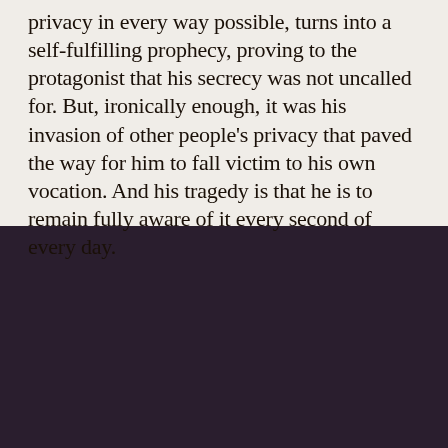privacy in every way possible, turns into a self-fulfilling prophecy, proving to the protagonist that his secrecy was not uncalled for. But, ironically enough, it was his invasion of other people's privacy that paved the way for him to fall victim to his own vocation. And his tragedy is that he is to remain fully aware of it every second of every day.